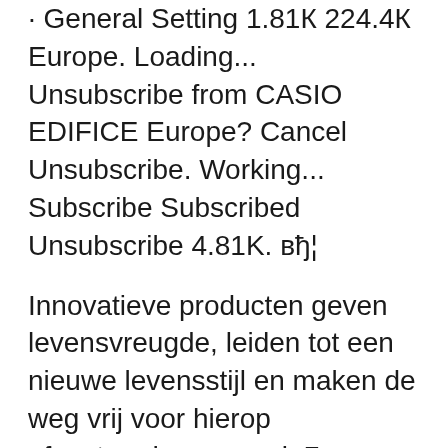· General Setting 1.81K 224.4K Europe. Loading... Unsubscribe from CASIO EDIFICE Europe? Cancel Unsubscribe. Working... Subscribe Subscribed Unsubscribe 4.81K. вђ¦
Innovatieve producten geven levensvreugde, leiden tot een nieuwe levensstijl en maken de weg vrij voor hierop afgestemde economieГ«n - vooral als ze zijn ontwikkeld door CASIO. Ervaar hoe creativiteit engagement wordt. $ 200.00 . Honda Racing has been in the spotlight as the supplier of power units to the Scuderia Toro Rosso Formula One team, which Casio EDIFICE has also been a supporter since 2016. The new analog watch EQS-800HR is a